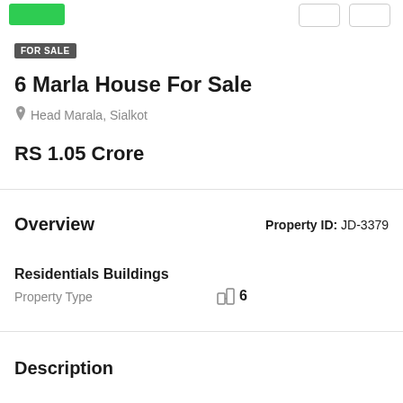FOR SALE
6 Marla House For Sale
Head Marala, Sialkot
RS 1.05 Crore
Overview
Property ID: JD-3379
Residentials Buildings
Property Type
6
Description